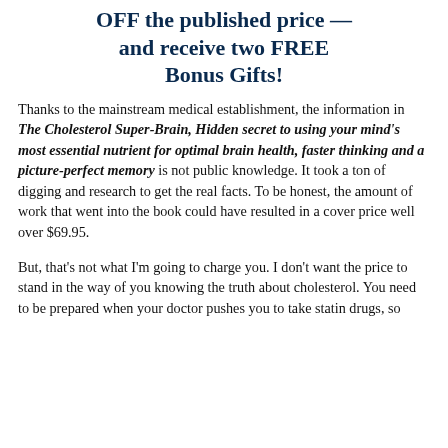OFF the published price — and receive two FREE Bonus Gifts!
Thanks to the mainstream medical establishment, the information in The Cholesterol Super-Brain, Hidden secret to using your mind's most essential nutrient for optimal brain health, faster thinking and a picture-perfect memory is not public knowledge. It took a ton of digging and research to get the real facts. To be honest, the amount of work that went into the book could have resulted in a cover price well over $69.95.
But, that's not what I'm going to charge you. I don't want the price to stand in the way of you knowing the truth about cholesterol. You need to be prepared when your doctor pushes you to take statin drugs, so